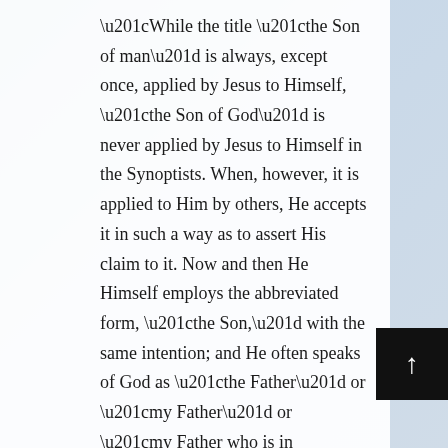“While the title “the Son of man” is always, except once, applied by Jesus to Himself, “the Son of God” is never applied by Jesus to Himself in the Synoptists. When, however, it is applied to Him by others, He accepts it in such a way as to assert His claim to it. Now and then He Himself employs the abbreviated form, “the Son,” with the same intention; and He often speaks of God as “the Father” or “my Father” or “my Father who is in heaven” in such a manner as to betray the consciousness that He is the Son of God.” — more info:
https://www.biblestudytools.com/dictionary/son-of-god-the/
“Though the Bible does not define its exact meaning, the title “Son of Man” probably refers to the fact that Jesus was perfect humanity. He, as God, came down and lived among us as the perfect human being. By doing this, He fulfilled the Law of Moses and did what no other human